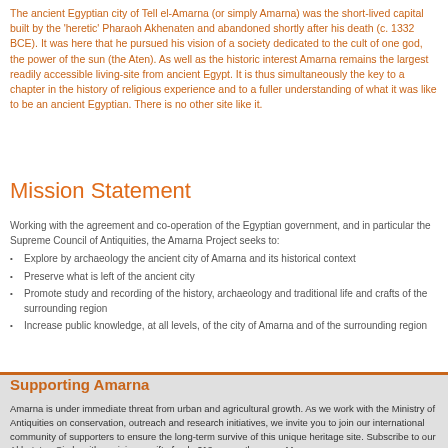The ancient Egyptian city of Tell el-Amarna (or simply Amarna) was the short-lived capital built by the 'heretic' Pharaoh Akhenaten and abandoned shortly after his death (c. 1332 BCE). It was here that he pursued his vision of a society dedicated to the cult of one god, the power of the sun (the Aten). As well as the historic interest Amarna remains the largest readily accessible living-site from ancient Egypt. It is thus simultaneously the key to a chapter in the history of religious experience and to a fuller understanding of what it was like to be an ancient Egyptian. There is no other site like it.
Mission Statement
Working with the agreement and co-operation of the Egyptian government, and in particular the Supreme Council of Antiquities, the Amarna Project seeks to:
Explore by archaeology the ancient city of Amarna and its historical context
Preserve what is left of the ancient city
Promote study and recording of the history, archaeology and traditional life and crafts of the surrounding region
Increase public knowledge, at all levels, of the city of Amarna and of the surrounding region
Supporting Amarna
Amarna is under immediate threat from urban and agricultural growth. As we work with the Ministry of Antiquities on conservation, outreach and research initiatives, we invite you to join our international community of supporters to ensure the long-term survive of this unique heritage site. Subscribe to our Akhetaten Circle with a minimum gift of only £10- a month, or our Meryra